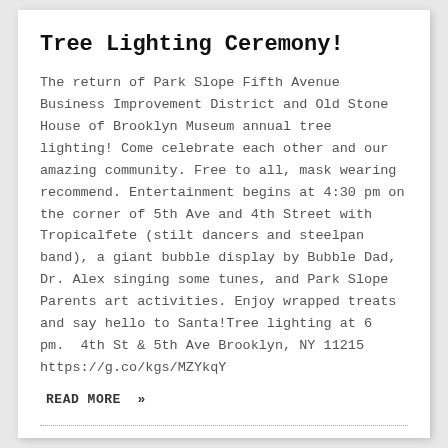Tree Lighting Ceremony!
The return of Park Slope Fifth Avenue Business Improvement District and Old Stone House of Brooklyn Museum annual tree lighting! Come celebrate each other and our amazing community. Free to all, mask wearing recommend. Entertainment begins at 4:30 pm on the corner of 5th Ave and 4th Street with Tropicalfete (stilt dancers and steelpan band), a giant bubble display by Bubble Dad, Dr. Alex singing some tunes, and Park Slope Parents art activities. Enjoy wrapped treats and say hello to Santa!Tree lighting at 6 pm. 4th St & 5th Ave Brooklyn, NY 11215 https://g.co/kgs/MZYkqY
READ MORE »